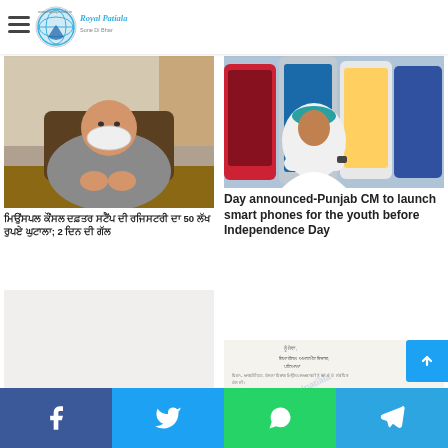Royal Patiala - news website header with logo and hamburger menu
Stamp registering done at municipal council office
Free electricity to big landlords be terminated,Kaith
[Figure (photo): Man wearing white face mask seated at a desk]
Hindi news text: municipal council stamp 50 lakh fraud; 2 days ago
[Figure (photo): Punjab CM with smartphones displayed in background]
Day announced-Punjab CM to launch smart phones for the youth before Independence Day
[Figure (photo): Official document/letter in Hindi with Royal Patiala watermark]
Social share buttons: Facebook, Twitter, WhatsApp, Telegram